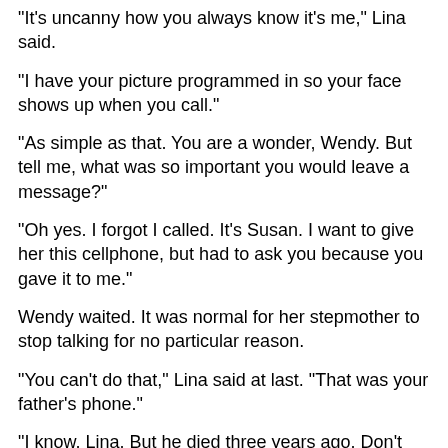"It's uncanny how you always know it's me," Lina said.
"I have your picture programmed in so your face shows up when you call."
"As simple as that. You are a wonder, Wendy. But tell me, what was so important you would leave a message?"
"Oh yes. I forgot I called. It's Susan. I want to give her this cellphone, but had to ask you because you gave it to me."
Wendy waited. It was normal for her stepmother to stop talking for no particular reason.
"You can't do that," Lina said at last. "That was your father's phone."
"I know, Lina. But he died three years ago. Don't you think it time to get over him. Don't you think is time you passed the phone along?"
"No I don't and I don't understand how you can ask. When I call your father I always get you. His daughter. If you erase it. Seems like I'm just starting...